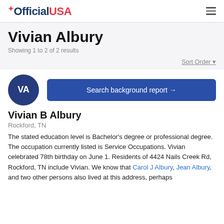OfficialUSA
Vivian Albury
Showing 1 to 2 of 2 results
Sort Order
[Figure (other): Avatar circle with initials VA in dark blue]
Search background report →
Vivian B Albury
Rockford, TN
The stated education level is Bachelor's degree or professional degree. The occupation currently listed is Service Occupations. Vivian celebrated 78th birthday on June 1. Residents of 4424 Nails Creek Rd, Rockford, TN include Vivian. We know that Carol J Albury, Jean Albury, and two other persons also lived at this address, perhaps